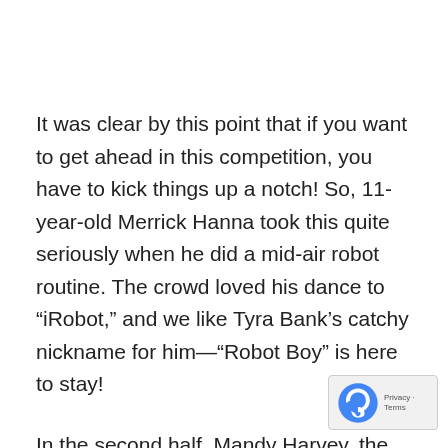It was clear by this point that if you want to get ahead in this competition, you have to kick things up a notch! So, 11-year-old Merrick Hanna took this quite seriously when he did a mid-air robot routine. The crowd loved his dance to “iRobot,” and we like Tyra Bank’s catchy nickname for him—“Robot Boy” is here to stay!
In the second half, Mandy Harvey, the hearing impaired singer everyone was looking forward to...